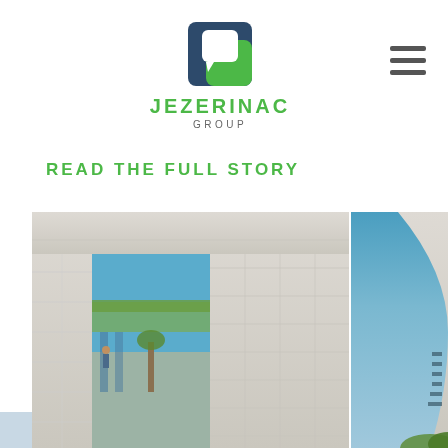[Figure (logo): Jezerinac Group logo: a square speech-bubble icon in dark blue and green, above the text JEZERINAC in bold green and GROUP in gray below]
[Figure (other): Hamburger menu icon: three horizontal dark gray bars stacked vertically]
READ THE FULL STORY
[Figure (photo): Split architectural photograph: left side shows a modern concrete building facade with a large rectangular opening and glass interior, lush greenery visible on a rooftop terrace under a blue sky; right side shows the curved facade of another modern concrete building under a blue sky with green foliage at the bottom edge]